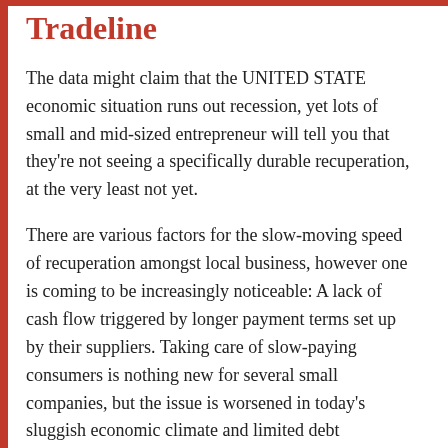Tradeline
The data might claim that the UNITED STATE economic situation runs out recession, yet lots of small and mid-sized entrepreneur will tell you that they're not seeing a specifically durable recuperation, at the very least not yet.
There are various factors for the slow-moving speed of recuperation amongst local business, however one is coming to be increasingly noticeable: A lack of cash flow triggered by longer payment terms set up by their suppliers. Taking care of slow-paying consumers is nothing new for several small companies, but the issue is worsened in today's sluggish economic climate and limited debt